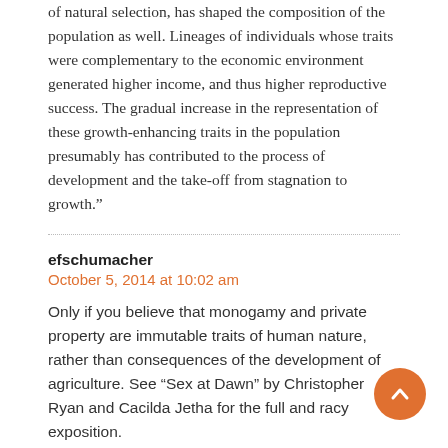of natural selection, has shaped the composition of the population as well. Lineages of individuals whose traits were complementary to the economic environment generated higher income, and thus higher reproductive success. The gradual increase in the representation of these growth-enhancing traits in the population presumably has contributed to the process of development and the take-off from stagnation to growth.”
efschumacher
October 5, 2014 at 10:02 am
Only if you believe that monogamy and private property are immutable traits of human nature, rather than consequences of the development of agriculture. See “Sex at Dawn” by Christopher Ryan and Cacilda Jetha for the full and racy exposition.
Coche
October 5, 2014 at 10:22 am
Figures 1 and 2 look suspiciously similar.